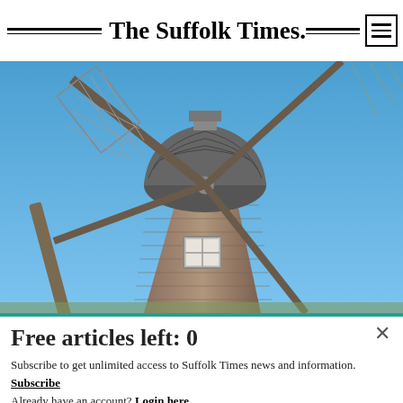The Suffolk Times.
[Figure (photo): Close-up photograph of a traditional windmill against a clear blue sky, showing the wooden sails/blades, cap structure with shingled roof, and the tower body with cedar shingles and a small window.]
Free articles left: 0
Subscribe to get unlimited access to Suffolk Times news and information.
Subscribe
Already have an account?  Login here